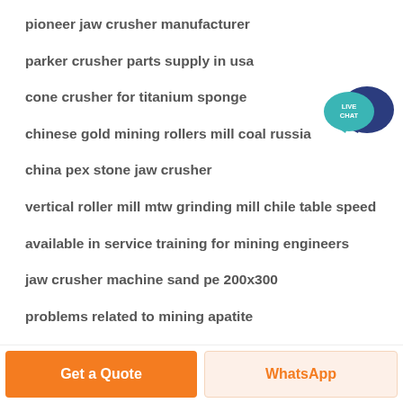pioneer jaw crusher manufacturer
parker crusher parts supply in usa
cone crusher for titanium sponge
chinese gold mining rollers mill coal russia
china pex stone jaw crusher
vertical roller mill mtw grinding mill chile table speed
available in service training for mining engineers
jaw crusher machine sand pe 200x300
problems related to mining apatite
[Figure (illustration): Live Chat widget with teal speech bubble and dark blue chat bubble icon with text LIVE CHAT]
Get a Quote | WhatsApp